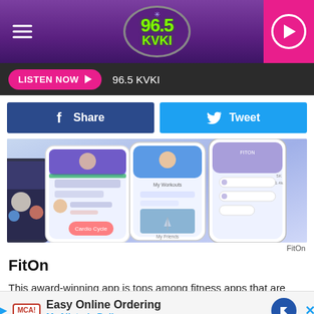96.5 KVKI
LISTEN NOW  96.5 KVKI
Share  Tweet
[Figure (screenshot): Multiple smartphone screens showing the FitOn fitness app interface with workout photos and app UI elements on a light blue/purple background]
FitOn
FitOn
This award-winning app is tops among fitness apps that are 'actual... This easy-to... and a
Easy Online Ordering
McAlister's Deli